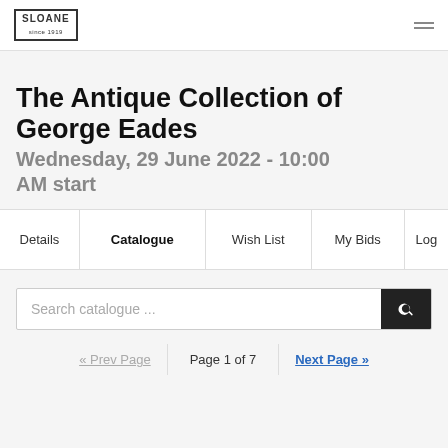SLOANE
The Antique Collection of George Eades
Wednesday, 29 June 2022 - 10:00 AM start
| Details | Catalogue | Wish List | My Bids | Log |
| --- | --- | --- | --- | --- |
Search catalogue ...
« Prev Page   Page 1 of 7   Next Page »